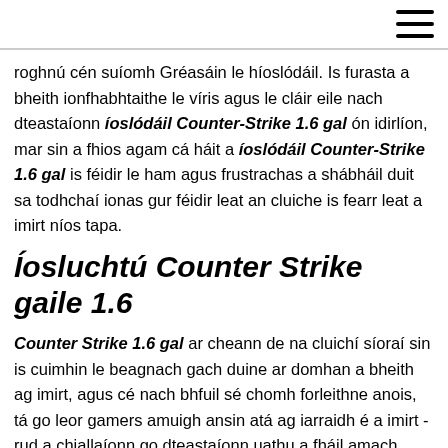roghnú cén suíomh Gréasáin le híoslódáil. Is furasta a bheith ionfhabhtaithe le víris agus le cláir eile nach dteastaíonn íoslódáil Counter-Strike 1.6 gal ón idirlíon, mar sin a fhios agam cá háit a íoslódáil Counter-Strike 1.6 gal is féidir le ham agus frustrachas a shábháil duit sa todhchaí ionas gur féidir leat an cluiche is fearr leat a imirt níos tapa.
Íosluchtú Counter Strike gaile 1.6
Counter Strike 1.6 gal ar cheann de na cluichí síoraí sin is cuimhin le beagnach gach duine ar domhan a bheith ag imirt, agus cé nach bhfuil sé chomh forleithne anois, tá go leor gamers amuigh ansin atá ag iarraidh é a imirt - rud a chiallaíonn go dteastaíonn uathu a fháil amach conas íoslódáil Counter-Strike 1.6 gal gan víris a fháil! Chun cabhrú leat malware a